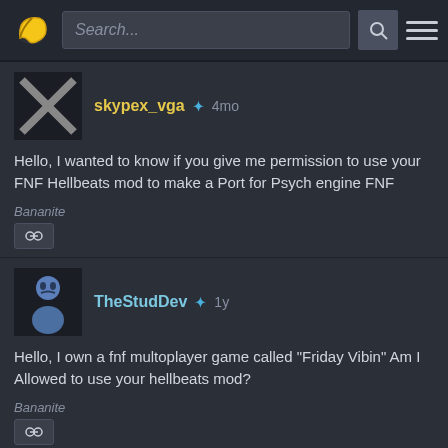Search... [search bar] [hamburger menu]
skypex_vga + 4mo
Hello, I wanted to know if you give me permission to use your FNF Hellbeats mod to make a Port for Psych engine FNF
Bananite
TheStudDev + 1y
Hello, I own a fnf multoplayer game called "Friday Vibin" Am I Allowed to use your hellbeats mod?
Bananite
1 Reply